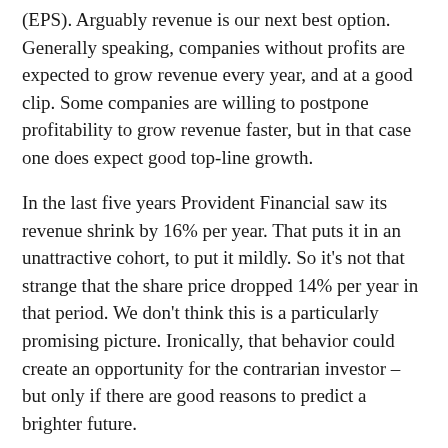(EPS). Arguably revenue is our next best option. Generally speaking, companies without profits are expected to grow revenue every year, and at a good clip. Some companies are willing to postpone profitability to grow revenue faster, but in that case one does expect good top-line growth.
In the last five years Provident Financial saw its revenue shrink by 16% per year. That puts it in an unattractive cohort, to put it mildly. So it's not that strange that the share price dropped 14% per year in that period. We don't think this is a particularly promising picture. Ironically, that behavior could create an opportunity for the contrarian investor – but only if there are good reasons to predict a brighter future.
You can see how earnings and revenue have changed over time in the image below (click on the chart to see the exact values).